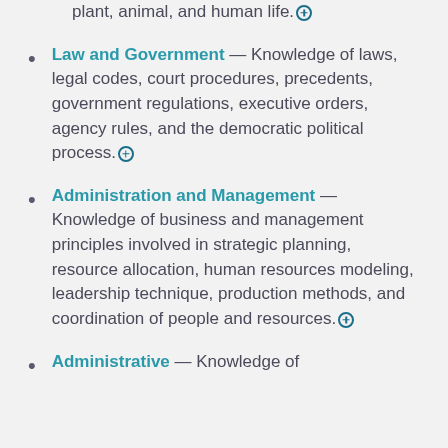plant, animal, and human life.⊕
Law and Government — Knowledge of laws, legal codes, court procedures, precedents, government regulations, executive orders, agency rules, and the democratic political process.⊕
Administration and Management — Knowledge of business and management principles involved in strategic planning, resource allocation, human resources modeling, leadership technique, production methods, and coordination of people and resources.⊕
Administrative — Knowledge of